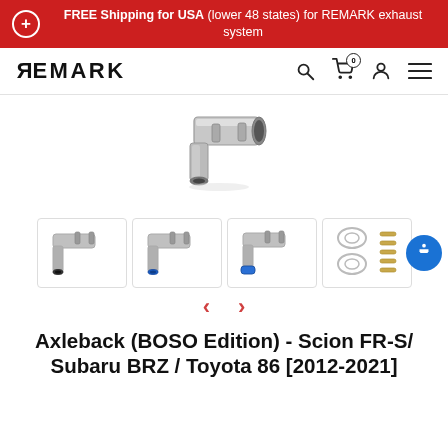FREE Shipping for USA (lower 48 states) for REMARK exhaust system
[Figure (screenshot): REMARK brand logo and navigation bar with search, cart (0), account, and menu icons]
[Figure (photo): Main product image showing a stainless steel exhaust tip pipe at an angle]
[Figure (photo): Four product thumbnail images: exhaust pipe with black tip, exhaust pipe with blue tip, exhaust pipe with blue angled tip, gaskets and hardware kit]
Axleback (BOSO Edition) - Scion FR-S/ Subaru BRZ / Toyota 86 [2012-2021]